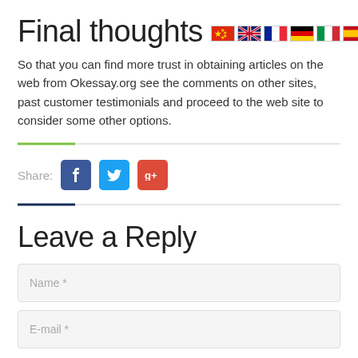Final thoughts
So that you can find more trust in obtaining articles on the web from Okessay.org see the comments on other sites, past customer testimonials and proceed to the web site to consider some other options.
Share:
Leave a Reply
Name *
E-mail *